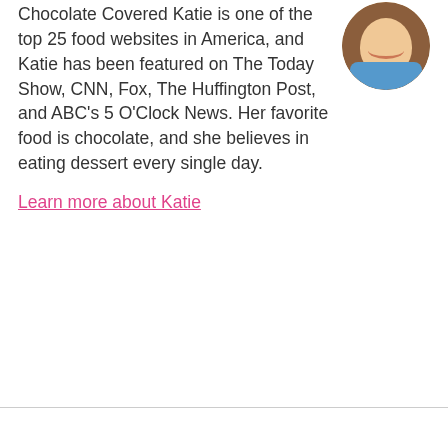[Figure (photo): Circular portrait photo of a smiling young woman with long brown hair, appearing outdoors.]
Chocolate Covered Katie is one of the top 25 food websites in America, and Katie has been featured on The Today Show, CNN, Fox, The Huffington Post, and ABC's 5 O'Clock News. Her favorite food is chocolate, and she believes in eating dessert every single day.
Learn more about Katie